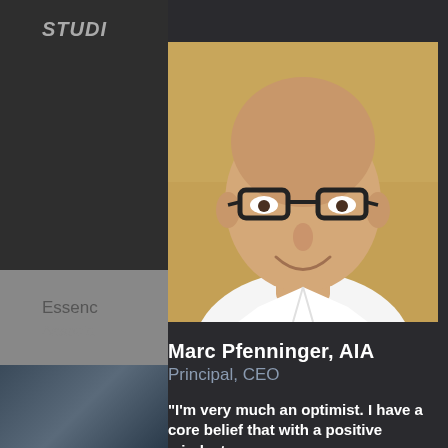STUDI
CLOSE
Essenc
Associa
[Figure (photo): Professional headshot of Marc Pfenninger, a bald man wearing dark-framed glasses and a white collared shirt, smiling, photographed against a warm wooden background]
Marc Pfenninger, AIA
Principal, CEO
“I’m very much an optimist. I have a core belief that with a positive mindset